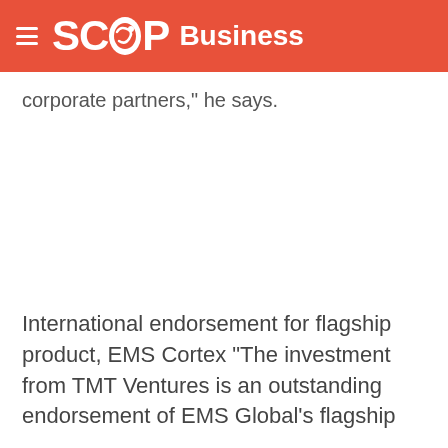SCOOP Business
corporate partners," he says.
International endorsement for flagship product, EMS Cortex "The investment from TMT Ventures is an outstanding endorsement of EMS Global's flagship